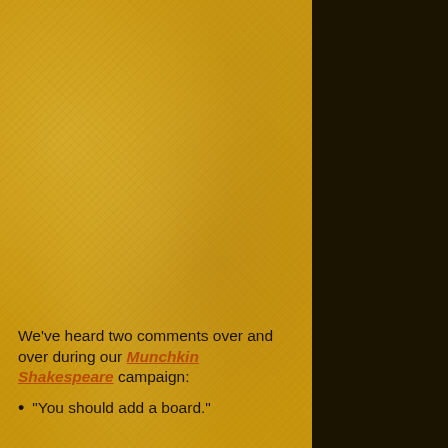We've heard two comments over and over during our Munchkin Shakespeare campaign:
"You should add a board."